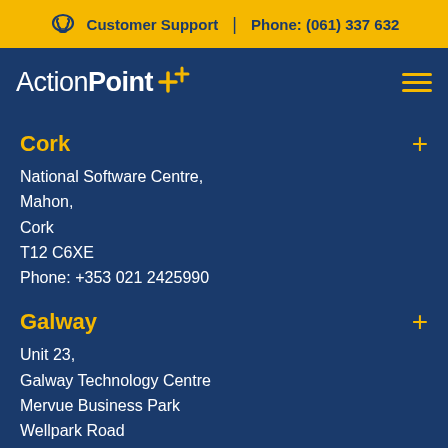Customer Support | Phone: (061) 337 632
ActionPoint
Cork
National Software Centre,
Mahon,
Cork
T12 C6XE
Phone: +353 021 2425990
Galway
Unit 23,
Galway Technology Centre
Mervue Business Park
Wellpark Road
H91 V2N9
Phone: +353 091 392 790